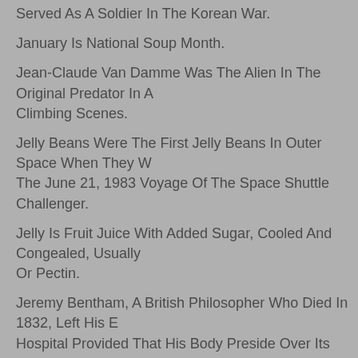Served As A Soldier In The Korean War.
January Is National Soup Month.
Jean-Claude Van Damme Was The Alien In The Original Predator In A… Climbing Scenes.
Jelly Beans Were The First Jelly Beans In Outer Space When They W… The June 21, 1983 Voyage Of The Space Shuttle Challenger.
Jelly Is Fruit Juice With Added Sugar, Cooled And Congealed, Usually… Or Pectin.
Jeremy Bentham, A British Philosopher Who Died In 1832, Left His E… Hospital Provided That His Body Preside Over Its Board Meetings. Hi… Fitted With A Wax Mask Of His Face. It Was Present At The Meeting …
Jet Lag Was Onced Called Boat Lag, Before There Were Jets.
Jfk Jr. And Christine Amanapour Of Cnn Were Housemates At Brown…
Jill St. John, Jack Klugman, Diana Ross, Carol Burnett And Cher Hav…